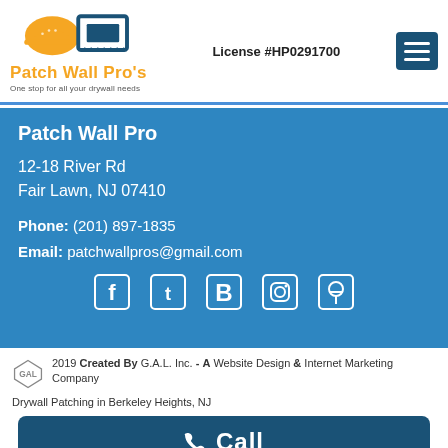[Figure (logo): Patch Wall Pro's logo with orange hard hat and blue drywall tools, orange text 'Patch Wall Pro's', grey subtext 'One stop for all your drywall needs']
License #HP0291700
Patch Wall Pro
12-18 River Rd
Fair Lawn, NJ 07410
Phone: (201) 897-1835
Email: patchwallpros@gmail.com
[Figure (illustration): Social media icons row: Facebook, Twitter, Blogger B, Instagram, Pinterest]
2019 Created By G.A.L. Inc. - A Website Design & Internet Marketing Company
Drywall Patching in Berkeley Heights, NJ
Call